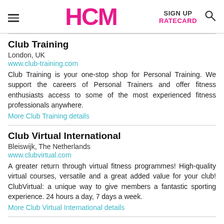HCM | SIGN UP | RATECARD
Club Training
London, UK
www.club-training.com
Club Training is your one-stop shop for Personal Training. We support the careers of Personal Trainers and offer fitness enthusiasts access to some of the most experienced fitness professionals anywhere.
More Club Training details
Club Virtual International
Bleiswijk, The Netherlands
www.clubvirtual.com
A greater return through virtual fitness programmes! High-quality virtual courses, versatile and a great added value for your club! ClubVirtual: a unique way to give members a fantastic sporting experience. 24 hours a day, 7 days a week.
More Club Virtual International details
Clubhealth.co.uk
London, UK